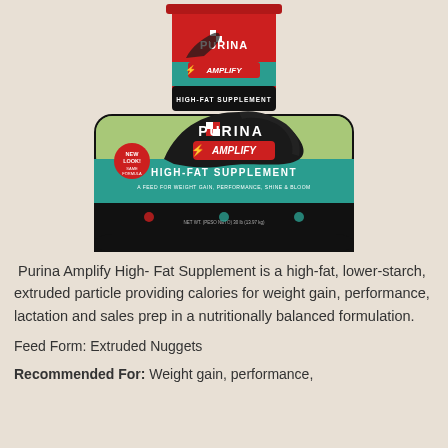[Figure (photo): Purina Amplify High-Fat Supplement product packaging — a red bucket and a large black bag/box, both showing a black horse running and the Purina Amplify High-Fat Supplement branding with teal and black design]
Purina Amplify High- Fat Supplement is a high-fat, lower-starch, extruded particle providing calories for weight gain, performance, lactation and sales prep in a nutritionally balanced formulation.
Feed Form: Extruded Nuggets
Recommended For: Weight gain, performance,